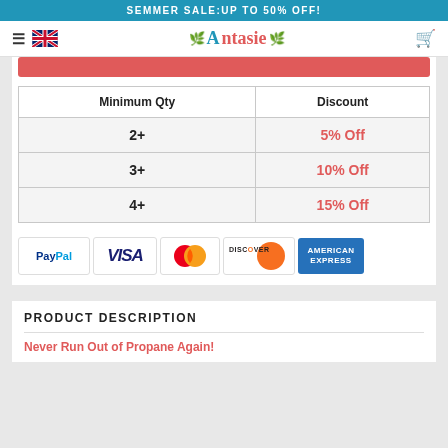SEMMER SALE:UP TO 50% OFF!
[Figure (logo): Antasie store navigation bar with hamburger menu, UK flag, Antasie logo, and cart icon]
| Minimum Qty | Discount |
| --- | --- |
| 2+ | 5% Off |
| 3+ | 10% Off |
| 4+ | 15% Off |
[Figure (other): Payment method icons: PayPal, Visa, Mastercard, Discover, American Express]
PRODUCT DESCRIPTION
Never Run Out of Propane Again!